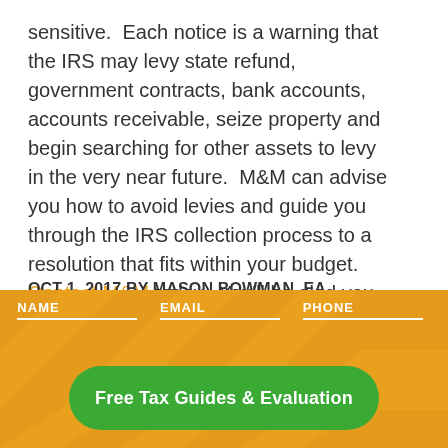sensitive.  Each notice is a warning that the IRS may levy state refund, government contracts, bank accounts, accounts receivable, seize property and begin searching for other assets to levy in the very near future.  M&M can advise you how to avoid levies and guide you through the IRS collection process to a resolution that fits within your budget.  Contact M&M today.  You'll be glad you did!
OCT 1, 2017 BY MASON BOWMAN, EA
Categories: Levies and Garnishments
[Figure (infographic): Social sharing icons: email, Google+, QR code, star/bookmark, RSS subscribe button]
NAME   EMAIL   PHONE
Free Tax Guides & Evaluation